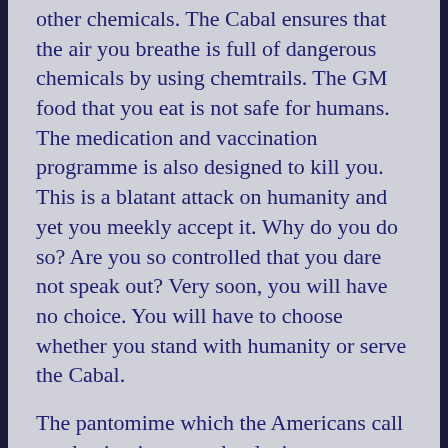other chemicals. The Cabal ensures that the air you breathe is full of dangerous chemicals by using chemtrails. The GM food that you eat is not safe for humans. The medication and vaccination programme is also designed to kill you. This is a blatant attack on humanity and yet you meekly accept it. Why do you do so? Are you so controlled that you dare not speak out? Very soon, you will have no choice. You will have to choose whether you stand with humanity or serve the Cabal.
The pantomime which the Americans call an election is presently playing out on television. It is so corrupt and yet the American people accept it. How could either of these people improve the lives of the American people. Look at the number of Americans who are homeless and reduced to sleeping in the parks and begging for food. Yet America has endless money for WAR. It cannot get